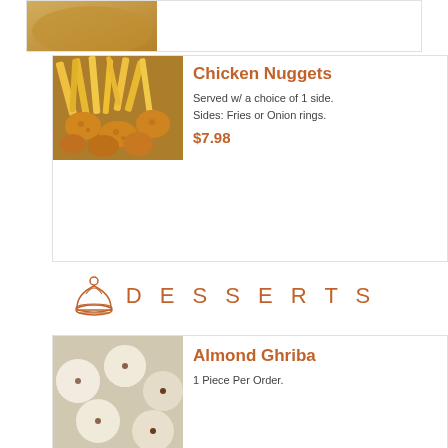[Figure (photo): Partial food photo at top of page (cropped)]
Chicken Nuggets
Served w/ a choice of 1 side. Sides: Fries or Onion rings.
$7.98
DESSERTS
Almond Ghriba
1 Piece Per Order.